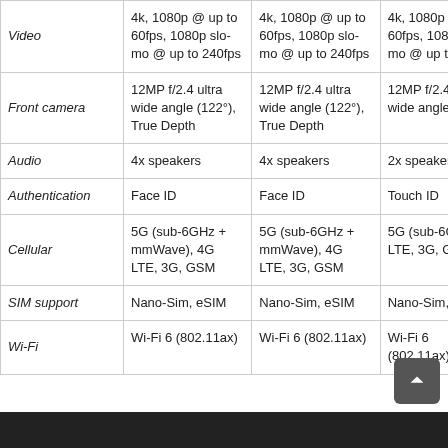|  | Col1 | Col2 | Col3 |
| --- | --- | --- | --- |
| Video | 4k, 1080p @ up to 60fps, 1080p slo-mo @ up to 240fps | 4k, 1080p @ up to 60fps, 1080p slo-mo @ up to 240fps | 4k, 1080p @ up to 60fps, 1080p slo-mo @ up to 240fps |
| Front camera | 12MP f/2.4 ultra wide angle (122°), True Depth | 12MP f/2.4 ultra wide angle (122°), True Depth | 12MP f/2.4 ultra wide angle (122°) |
| Audio | 4x speakers | 4x speakers | 2x speakers |
| Authentication | Face ID | Face ID | Touch ID |
| Cellular | 5G (sub-6GHz + mmWave), 4G LTE, 3G, GSM | 5G (sub-6GHz + mmWave), 4G LTE, 3G, GSM | 5G (sub-6GHz), 4G LTE, 3G, GSM |
| SIM support | Nano-Sim, eSIM | Nano-Sim, eSIM | Nano-Sim, eSIM |
| Wi-Fi | Wi-Fi 6 (802.11ax) | Wi-Fi 6 (802.11ax) | Wi-Fi 6 (802.11ax) |